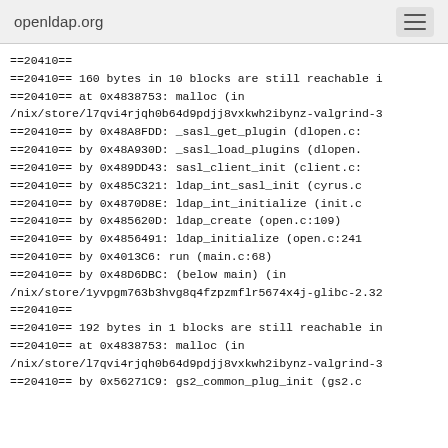openldap.org
==20410==
==20410== 160 bytes in 10 blocks are still reachable i
==20410==    at 0x4838753: malloc (in
/nix/store/l7qvi4rjqh0b64d9pdjj8vxkwh2ibynz-valgrind-3
==20410==    by 0x48A8FDD: _sasl_get_plugin (dlopen.c:
==20410==    by 0x48A930D: _sasl_load_plugins (dlopen.
==20410==    by 0x489DD43: sasl_client_init (client.c:
==20410==    by 0x485C321: ldap_int_sasl_init (cyrus.c
==20410==    by 0x4870D8E: ldap_int_initialize (init.c
==20410==    by 0x485620D: ldap_create (open.c:109)
==20410==    by 0x4856491: ldap_initialize (open.c:241
==20410==    by 0x4013C6: run (main.c:68)
==20410==    by 0x48D6DBC: (below main) (in
/nix/store/1yvpgm763b3hvg8q4fzpzmflr5674x4j-glibc-2.32
==20410==
==20410== 192 bytes in 1 blocks are still reachable in
==20410==    at 0x4838753: malloc (in
/nix/store/l7qvi4rjqh0b64d9pdjj8vxkwh2ibynz-valgrind-3
==20410==    by 0x56271C9: gs2_common_plug_init (gs2.c